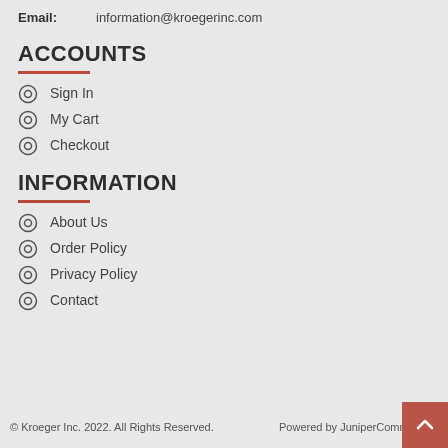Email: information@kroegerinc.com
ACCOUNTS
Sign In
My Cart
Checkout
INFORMATION
About Us
Order Policy
Privacy Policy
Contact
© Kroeger Inc. 2022. All Rights Reserved. Powered by JuniperCommerce